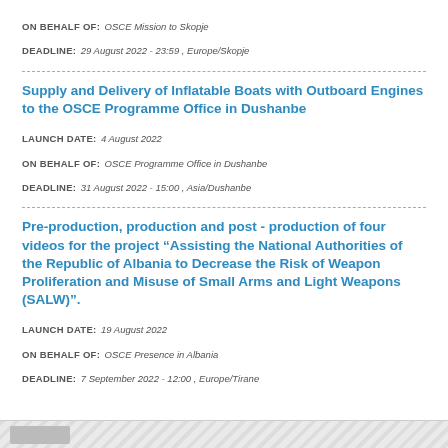ON BEHALF OF: OSCE Mission to Skopje
DEADLINE: 29 August 2022 - 23:59 , Europe/Skopje
Supply and Delivery of Inflatable Boats with Outboard Engines to the OSCE Programme Office in Dushanbe
LAUNCH DATE: 4 August 2022
ON BEHALF OF: OSCE Programme Office in Dushanbe
DEADLINE: 31 August 2022 - 15:00 , Asia/Dushanbe
Pre-production, production and post - production of four videos for the project “Assisting the National Authorities of the Republic of Albania to Decrease the Risk of Weapon Proliferation and Misuse of Small Arms and Light Weapons (SALW)”.
LAUNCH DATE: 19 August 2022
ON BEHALF OF: OSCE Presence in Albania
DEADLINE: 7 September 2022 - 12:00 , Europe/Tirane